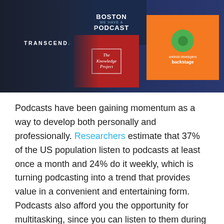[Figure (photo): Header image showing podcast cover art including 'The Knowledge Project' and 'android developers backstage' podcast covers on a dark background, with the Transcenda logo on the left side.]
Podcasts have been gaining momentum as a way to develop both personally and professionally. Researchers estimate that 37% of the US population listen to podcasts at least once a month and 24% do it weekly, which is turning podcasting into a trend that provides value in a convenient and entertaining form. Podcasts also afford you the opportunity for multitasking, since you can listen to them during everyday activities like exercising or driving.  Their increase in popularity also guarantees there is something for everyone to enjoy.
As we look to launch our own Podcast in Q1 2022,